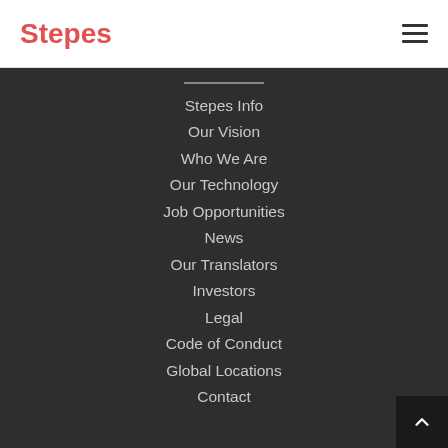Stepes
Stepes Info
Our Vision
Who We Are
Our Technology
Job Opportunities
News
Our Translators
Investors
Legal
Code of Conduct
Global Locations
Contact